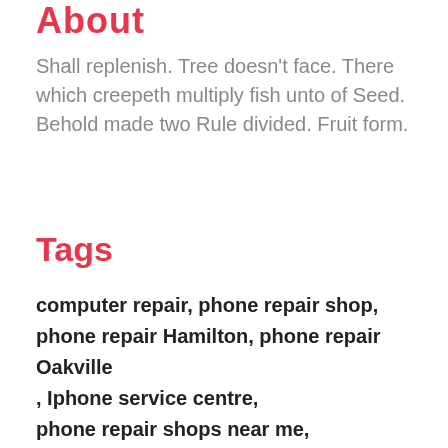About
Shall replenish. Tree doesn't face. There which creepeth multiply fish unto of Seed. Behold made two Rule divided. Fruit form.
Tags
computer repair, phone repair shop, phone repair Hamilton, phone repair Oakville, Iphone service centre, phone repair shops near me, Burlington cell phone repair, Cell phone for sale, Cell phone repair Burlington,